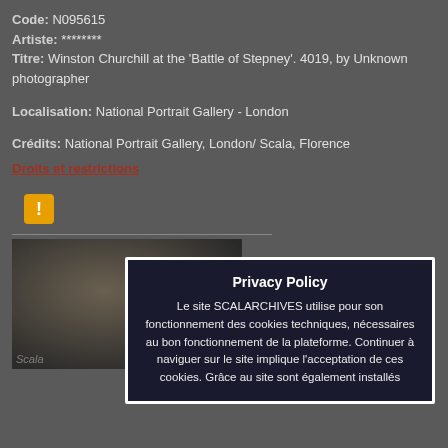Code: N095615
Artiste: ********
Titre: Winston Churchill at the 'Battle of Stepney'. 4019, by Unknown photographer
Localisation: National Portrait Gallery - London
Crédits: National Portrait Gallery, London/ Scala, Florence
Droits et restrictions
[Figure (photo): Black and white historical photograph, partially visible, showing figures in early 20th century dress]
Privacy Policy
Le site SCALARCHIVES utilise pour son fonctionnement des cookies techniques, nécessaires au bon fonctionnement de la plateforme. Continuer à naviguer sur le site implique l'acceptation de ces cookies. Grâce au site sont également installés